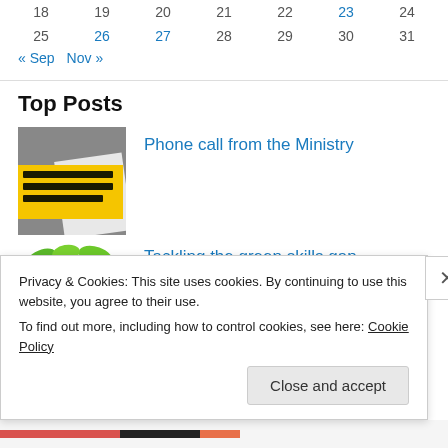| 18 | 19 | 20 | 21 | 22 | 23 | 24 |
| 25 | 26 | 27 | 28 | 29 | 30 | 31 |
« Sep   Nov »
Top Posts
[Figure (photo): Yellow sign with text, anti-corruption theme, gray background]
Phone call from the Ministry
[Figure (photo): Green plant seedling on white background]
Tackling the green skills gap
Privacy & Cookies: This site uses cookies. By continuing to use this website, you agree to their use.
To find out more, including how to control cookies, see here: Cookie Policy
Close and accept